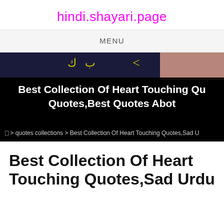hindi.shayari.page
MENU
[Figure (screenshot): Dark blue and brown hero banner with yellow Urdu/Hindi script text and overlay title text reading 'Best Collection Of Heart Touching Qu... Quotes,Best Quotes Abot' on a black background]
⊞ > quotes collections > Best Collection Of Heart Touching Quotes,Sad U
Best Collection Of Heart Touching Quotes,Sad Urdu